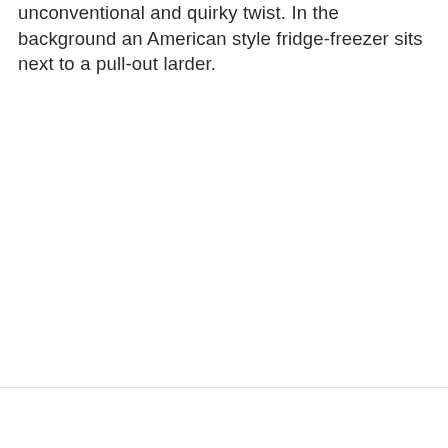unconventional and quirky twist. In the background an American style fridge-freezer sits next to a pull-out larder.